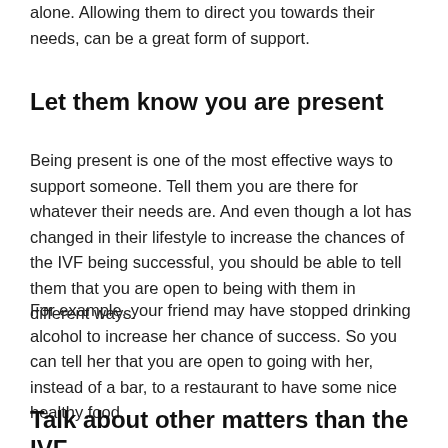alone. Allowing them to direct you towards their needs, can be a great form of support.
Let them know you are present
Being present is one of the most effective ways to support someone. Tell them you are there for whatever their needs are. And even though a lot has changed in their lifestyle to increase the chances of the IVF being successful, you should be able to tell them that you are open to being with them in different ways.
For example, your friend may have stopped drinking alcohol to increase her chance of success. So you can tell her that you are open to going with her, instead of a bar, to a restaurant to have some nice healthy food.
Talk about other matters than the IVF